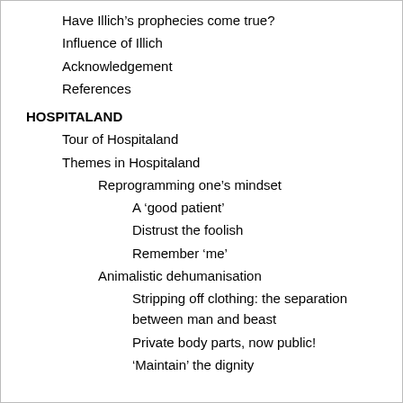Have Illich's prophecies come true?
Influence of Illich
Acknowledgement
References
HOSPITALAND
Tour of Hospitaland
Themes in Hospitaland
Reprogramming one's mindset
A 'good patient'
Distrust the foolish
Remember 'me'
Animalistic dehumanisation
Stripping off clothing: the separation between man and beast
Private body parts, now public!
'Maintain' the dignity